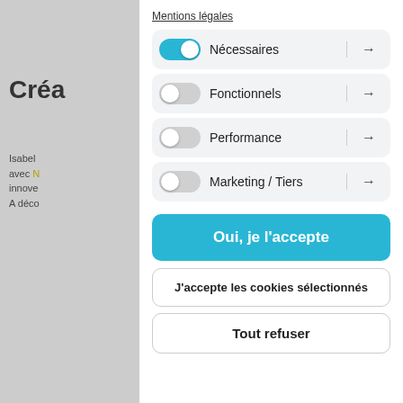Mentions légales
Nécessaires (toggle on, arrow)
Fonctionnels (toggle off, arrow)
Performance (toggle off, arrow)
Marketing / Tiers (toggle off, arrow)
Oui, je l'accepte
J'accepte les cookies sélectionnés
Tout refuser